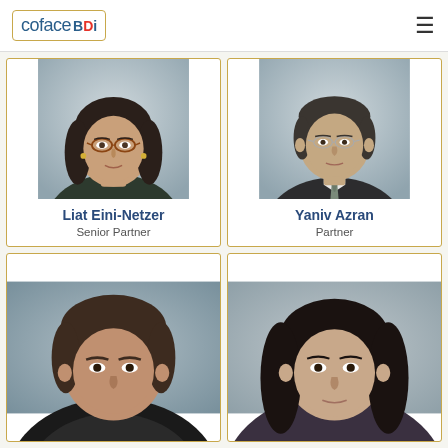coface BDi
[Figure (photo): Portrait photo of Liat Eini-Netzer, a woman with dark hair and glasses wearing a dark top]
Liat Eini-Netzer
Senior Partner
[Figure (photo): Portrait photo of Yaniv Azran, a man wearing glasses, dark suit and striped tie]
Yaniv Azran
Partner
[Figure (photo): Portrait photo of a man with dark hair, cropped at top of page]
[Figure (photo): Portrait photo of a woman with long dark hair, cropped at top of page]